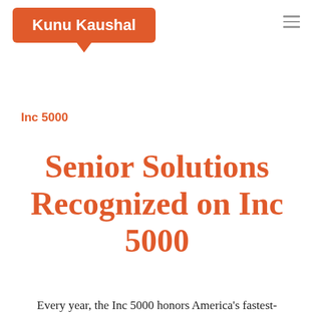Kunu Kaushal
Inc 5000
Senior Solutions Recognized on Inc 5000
Every year, the Inc 5000 honors America's fastest-